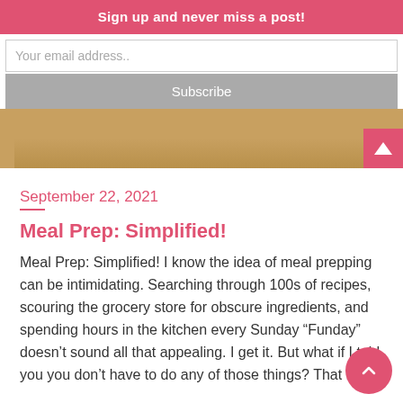Sign up and never miss a post!
Your email address..
Subscribe
[Figure (photo): Partial image of food or wooden surface, cropped, with a pink scroll-up arrow button in bottom-right corner]
September 22, 2021
Meal Prep: Simplified!
Meal Prep: Simplified! I know the idea of meal prepping can be intimidating. Searching through 100s of recipes, scouring the grocery store for obscure ingredients, and spending hours in the kitchen every Sunday “Funday” doesn’t sound all that appealing. I get it. But what if I told you you don’t have to do any of those things? That meal